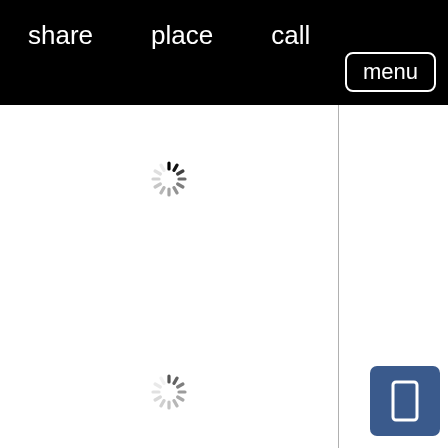share   place   call   menu
[Figure (screenshot): Loading spinner in top card area]
[Figure (screenshot): Loading spinner in bottom card area]
[Figure (other): Blue button with rectangle icon on right panel]